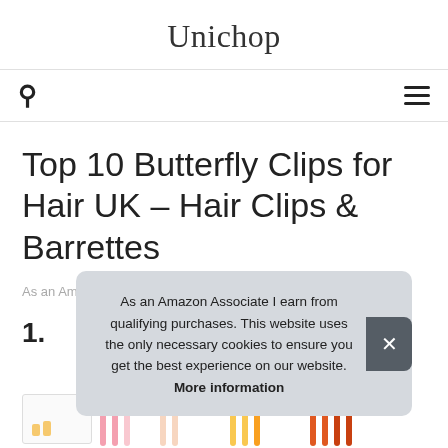Unichop
Top 10 Butterfly Clips for Hair UK – Hair Clips & Barrettes
As an Amazon Associate I earn from qualifying purchases.
1.
[Figure (photo): Product image of butterfly hair clips at the bottom of the page]
As an Amazon Associate I earn from qualifying purchases. This website uses the only necessary cookies to ensure you get the best experience on our website. More information